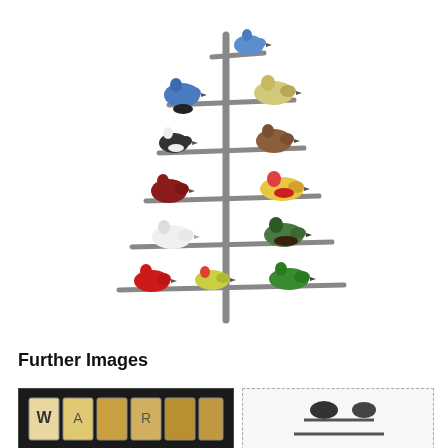[Figure (photo): A decorative metal tree sculpture with multiple horizontal branch-like shelves, displaying various colorful ceramic bird figurines perched on the branches. Birds include blue jays, cardinals, sparrows, and other species in red, blue, green, white, brown, and yellow colors.]
Further Images
[Figure (photo): Thumbnail image showing a dark-framed display with letter tiles including W, R, and other letters arranged in a row.]
[Figure (photo): Thumbnail image with dashed border showing a partial view of what appears to be a bird or decorative object on white background.]